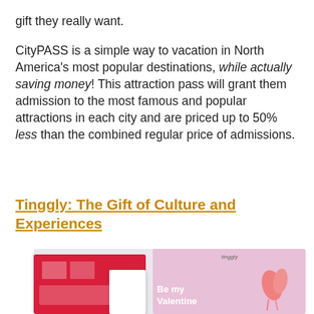gift they really want.
CityPASS is a simple way to vacation in North America's most popular destinations, while actually saving money! This attraction pass will grant them admission to the most famous and popular attractions in each city and are priced up to 50% less than the combined regular price of admissions.
Tinggly: The Gift of Culture and Experiences
[Figure (photo): Photo of Tinggly gift boxes and cards, including a pink Valentine's day themed gift box with flamingo imagery and text 'Be my Valentine']